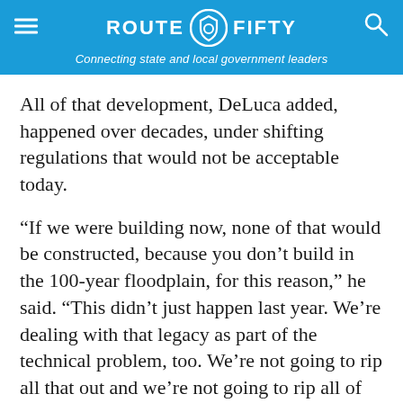ROUTE FIFTY — Connecting state and local government leaders
All of that development, DeLuca added, happened over decades, under shifting regulations that would not be acceptable today.
“If we were building now, none of that would be constructed, because you don’t build in the 100-year floodplain, for this reason,” he said. “This didn’t just happen last year. We’re dealing with that legacy as part of the technical problem, too. We’re not going to rip all that out and we’re not going to rip all of Main Street out. We’re trying to find a solution that works best.”